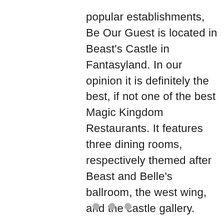popular establishments, Be Our Guest is located in Beast's Castle in Fantasyland. In our opinion it is definitely the best, if not one of the best Magic Kingdom Restaurants. It features three dining rooms, respectively themed after Beast and Belle's ballroom, the west wing, and the castle gallery.
[Figure (other): Gray placeholder image area below the text]